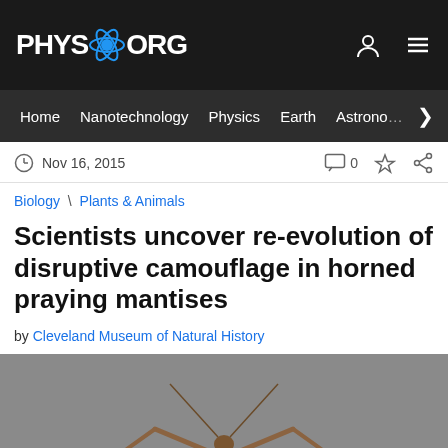PHYS.ORG
Home  Nanotechnology  Physics  Earth  Astronomy
Nov 16, 2015  0
Biology \ Plants & Animals
Scientists uncover re-evolution of disruptive camouflage in horned praying mantises
by Cleveland Museum of Natural History
[Figure (photo): Photo of horned praying mantis specimen against gray background]